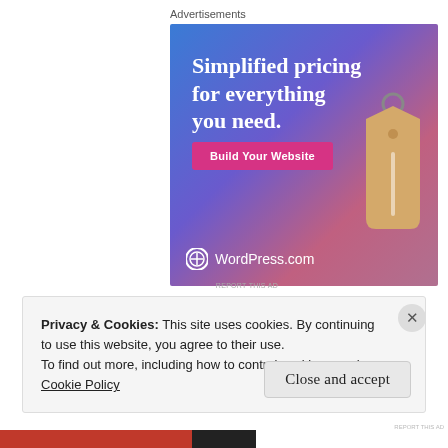Advertisements
[Figure (illustration): WordPress.com advertisement banner with blue-purple-pink gradient background, large white text 'Simplified pricing for everything you need.', a pink 'Build Your Website' button, a hanging price tag illustration on the right, and WordPress.com logo at the bottom left.]
REPORT THIS AD
Privacy & Cookies: This site uses cookies. By continuing to use this website, you agree to their use.
To find out more, including how to control cookies, see here:
Cookie Policy
Close and accept